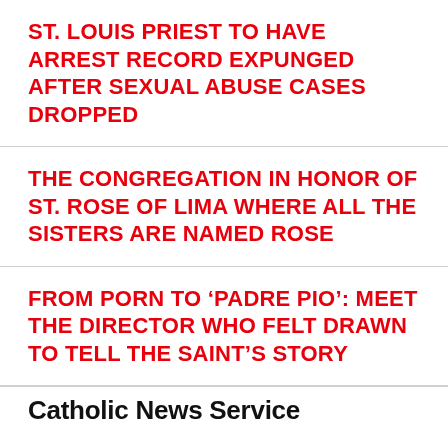ST. LOUIS PRIEST TO HAVE ARREST RECORD EXPUNGED AFTER SEXUAL ABUSE CASES DROPPED
THE CONGREGATION IN HONOR OF ST. ROSE OF LIMA WHERE ALL THE SISTERS ARE NAMED ROSE
FROM PORN TO ‘PADRE PIO’: MEET THE DIRECTOR WHO FELT DRAWN TO TELL THE SAINT’S STORY
Catholic News Service